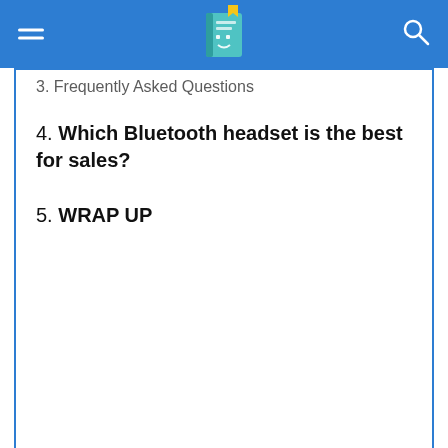3. Frequently Asked Questions
4. Which Bluetooth headset is the best for sales?
5. WRAP UP
It also gives you the freedom to wander with your Bluetooth device so you can grab the files and information that you need to close your sale and seal the deal.